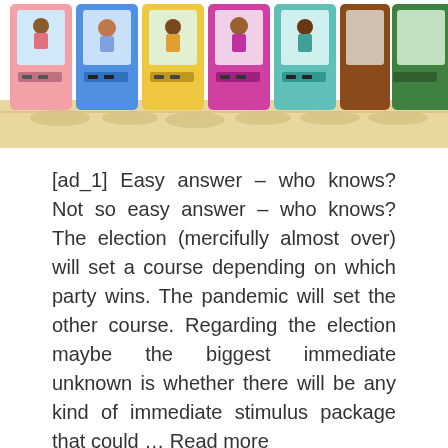[Figure (illustration): Illustration of colorful arcade/vending machines in a row with characters visible through glass panels, on a beige floor. Machines are pink, blue, yellow, magenta, teal, and green.]
[ad_1] Easy answer – who knows? Not so easy answer – who knows? The election (mercifully almost over) will set a course depending on which party wins. The pandemic will set the other course. Regarding the election maybe the biggest immediate unknown is whether there will be any kind of immediate stimulus package that could … Read more
BUSINESS IDEAS - FINANCE
Business